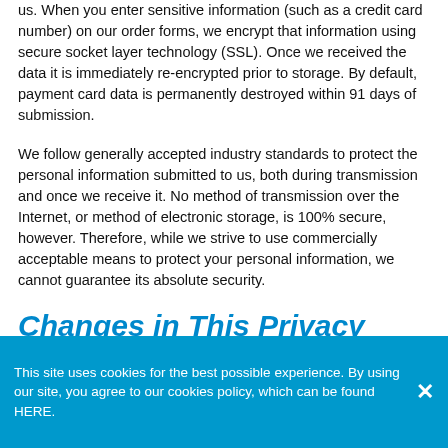us. When you enter sensitive information (such as a credit card number) on our order forms, we encrypt that information using secure socket layer technology (SSL). Once we received the data it is immediately re-encrypted prior to storage. By default, payment card data is permanently destroyed within 91 days of submission.
We follow generally accepted industry standards to protect the personal information submitted to us, both during transmission and once we receive it. No method of transmission over the Internet, or method of electronic storage, is 100% secure, however. Therefore, while we strive to use commercially acceptable means to protect your personal information, we cannot guarantee its absolute security.
Changes in This Privacy Statement
This site uses cookies for the best possible experience. By using our site, you agree to our cookies policy, which can be found HERE.